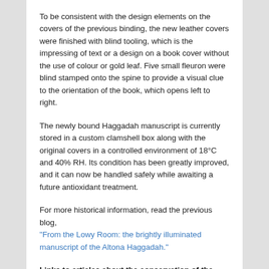To be consistent with the design elements on the covers of the previous binding, the new leather covers were finished with blind tooling, which is the impressing of text or a design on a book cover without the use of colour or gold leaf. Five small fleuron were blind stamped onto the spine to provide a visual clue to the orientation of the book, which opens left to right.
The newly bound Haggadah manuscript is currently stored in a custom clamshell box along with the original covers in a controlled environment of 18°C and 40% RH. Its condition has been greatly improved, and it can now be handled safely while awaiting a future antioxidant treatment.
For more historical information, read the previous blog, "From the Lowy Room: the brightly illuminated manuscript of the Altona Haggadah."
Links to articles about the conservation of the 1763 Altona Haggadah: